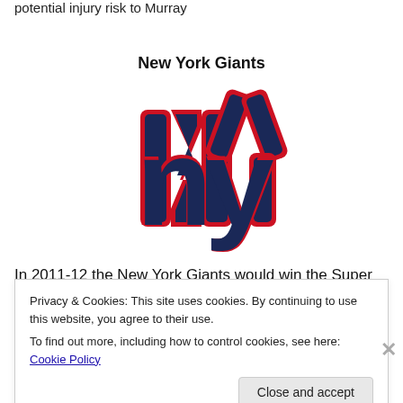potential injury risk to Murray
New York Giants
[Figure (logo): New York Giants NFL team logo — interlocking 'ny' letters in dark blue with red outline on white background]
In 2011-12 the New York Giants would win the Super Bowl
for the second time in four years and went into the 2012
Privacy & Cookies: This site uses cookies. By continuing to use this website, you agree to their use.
To find out more, including how to control cookies, see here: Cookie Policy
Close and accept